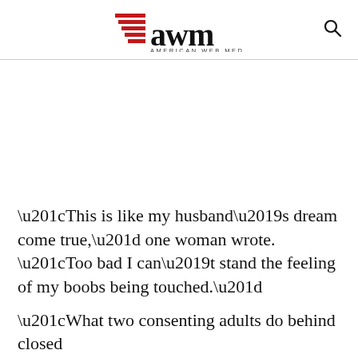AWM American Web Media
[Figure (other): Blank white advertisement area]
“This is like my husband’s dream come true,” one woman wrote. “Too bad I can’t stand the feeling of my boobs being touched.”
“What two consenting adults do behind closed